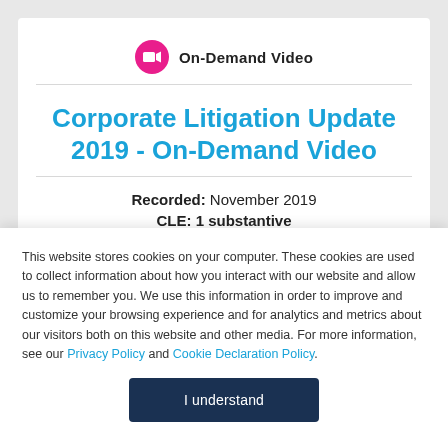[Figure (logo): Pink circular badge icon with video camera symbol]
On-Demand Video
Corporate Litigation Update 2019 - On-Demand Video
Recorded: November 2019
CLE: 1 substantive
This website stores cookies on your computer. These cookies are used to collect information about how you interact with our website and allow us to remember you. We use this information in order to improve and customize your browsing experience and for analytics and metrics about our visitors both on this website and other media. For more information, see our Privacy Policy and Cookie Declaration Policy.
I understand